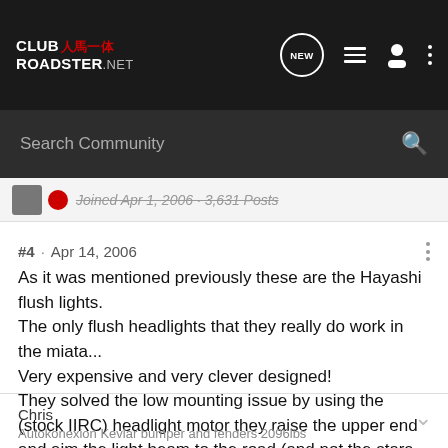CLUB ROADSTER.net — navigation bar with search
Joined Apr 1, 2006 · 3,631 Posts
#4 · Apr 14, 2006
As it was mentioned previously these are the Hayashi flush lights.
The only flush headlights that they really do work in the miata...
Very expensive and very clever designed!
They solved the low mounting issue by using the (stock IIRC) headlight motor they raise the upper end and aim the light beam to the road (and not the stars 🙂)!
Chris
Autokonexion Kevlar bumper and fenders 2096lbs